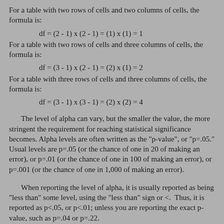For a table with two rows of cells and two columns of cells, the formula is:
For a table with two rows of cells and three columns of cells, the formula is:
For a table with three rows of cells and three columns of cells, the formula is:
The level of alpha can vary, but the smaller the value, the more stringent the requirement for reaching statistical significance becomes. Alpha levels are often written as the "p-value", or "p=.05." Usual levels are p=.05 (or the chance of one in 20 of making an error), or p=.01 (or the chance of one in 100 of making an error), or p=.001 (or the chance of one in 1,000 of making an error).
When reporting the level of alpha, it is usually reported as being "less than" some level, using the "less than" sign or <. Thus, it is reported as p<.05, or p<.01; unless you are reporting the exact p-value, such as p=.04 or p=.22.